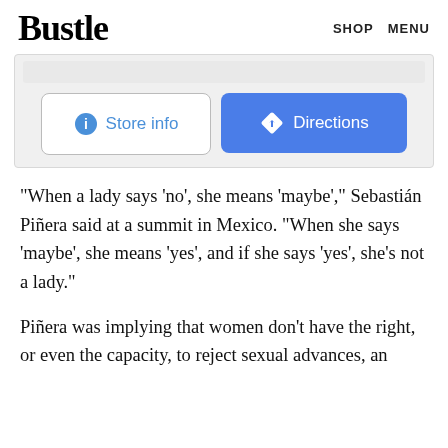Bustle   SHOP   MENU
[Figure (screenshot): Google Maps widget showing Store info and Directions buttons]
"When a lady says 'no', she means 'maybe'," Sebastián Piñera said at a summit in Mexico. "When she says 'maybe', she means 'yes', and if she says 'yes', she's not a lady."
Piñera was implying that women don't have the right, or even the capacity, to reject sexual advances, an